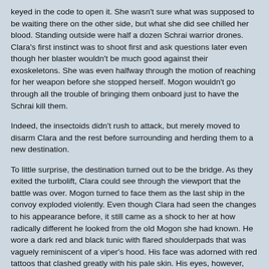keyed in the code to open it. She wasn't sure what was supposed to be waiting there on the other side, but what she did see chilled her blood. Standing outside were half a dozen Schrai warrior drones. Clara's first instinct was to shoot first and ask questions later even though her blaster wouldn't be much good against their exoskeletons. She was even halfway through the motion of reaching for her weapon before she stopped herself. Mogon wouldn't go through all the trouble of bringing them onboard just to have the Schrai kill them.
Indeed, the insectoids didn't rush to attack, but merely moved to disarm Clara and the rest before surrounding and herding them to a new destination.
To little surprise, the destination turned out to be the bridge. As they exited the turbolift, Clara could see through the viewport that the battle was over. Mogon turned to face them as the last ship in the convoy exploded violently. Even though Clara had seen the changes to his appearance before, it still came as a shock to her at how radically different he looked from the old Mogon she had known. He wore a dark red and black tunic with flared shoulderpads that was vaguely reminiscent of a viper's hood. His face was adorned with red tattoos that clashed greatly with his pale skin. His eyes, however, had the greatest change. They fairly burned with power that Clara had learned through experience facing other Darksiders came with immersing oneself in the Dark Side.